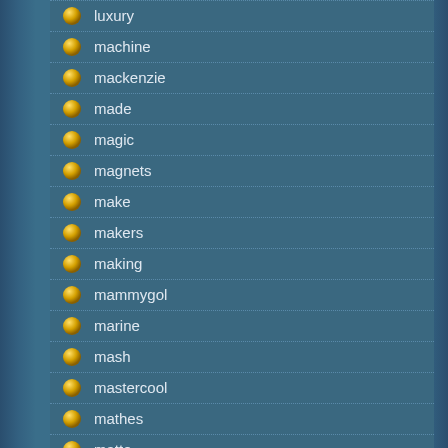luxury
machine
mackenzie
made
magic
magnets
make
makers
making
mammygol
marine
mash
mastercool
mathes
matto